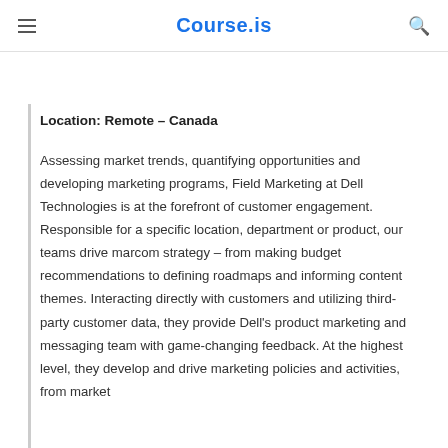Course.is
Location: Remote – Canada
Assessing market trends, quantifying opportunities and developing marketing programs, Field Marketing at Dell Technologies is at the forefront of customer engagement. Responsible for a specific location, department or product, our teams drive marcom strategy – from making budget recommendations to defining roadmaps and informing content themes. Interacting directly with customers and utilizing third-party customer data, they provide Dell's product marketing and messaging team with game-changing feedback. At the highest level, they develop and drive marketing policies and activities, from market